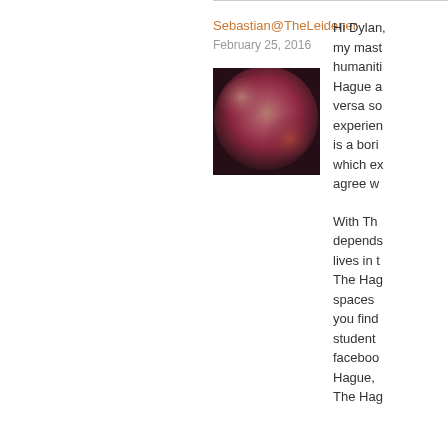Sebastian@TheLeidener
February 25, 2016
[Figure (photo): User avatar photo showing a blurred close-up image with pink/red tones]
Hi Dylan, my mast humanities Hague a versa so experien is a bori which ex agree w

With Th depends lives in t The Hag spaces you find student faceboo Hague, The Hag